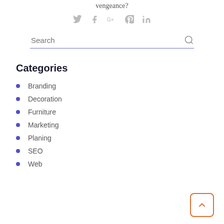vengeance?
[Figure (infographic): Social media share icons: Twitter, Facebook, Google+, Pinterest, LinkedIn]
Search
Categories
Branding
Decoration
Furniture
Marketing
Planing
SEO
Web